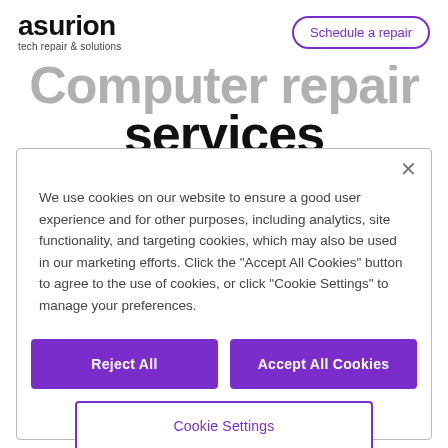[Figure (logo): Asurion logo — 'asurion' in bold black, 'tech repair & solutions' below in smaller text]
Schedule a repair
Computer repair services
We use cookies on our website to ensure a good user experience and for other purposes, including analytics, site functionality, and targeting cookies, which may also be used in our marketing efforts. Click the "Accept All Cookies" button to agree to the use of cookies, or click "Cookie Settings" to manage your preferences.
Reject All
Accept All Cookies
Cookie Settings